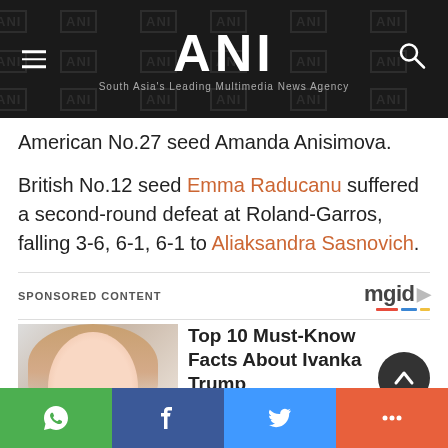ANI – South Asia's Leading Multimedia News Agency
American No.27 seed Amanda Anisimova.
British No.12 seed Emma Raducanu suffered a second-round defeat at Roland-Garros, falling 3-6, 6-1, 6-1 to Aliaksandra Sasnovich.
SPONSORED CONTENT
[Figure (photo): Sponsored content image of Ivanka Trump]
Top 10 Must-Know Facts About Ivanka Trump